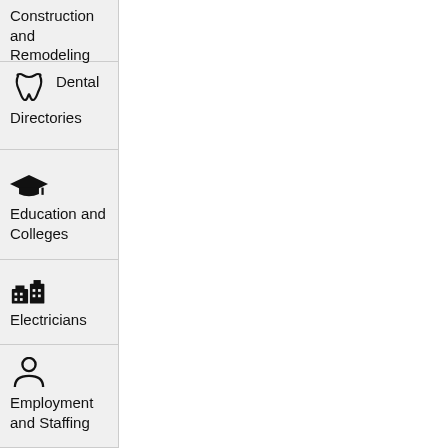Construction and Remodeling
Dental Directories
Education and Colleges
Electricians
Employment and Staffing